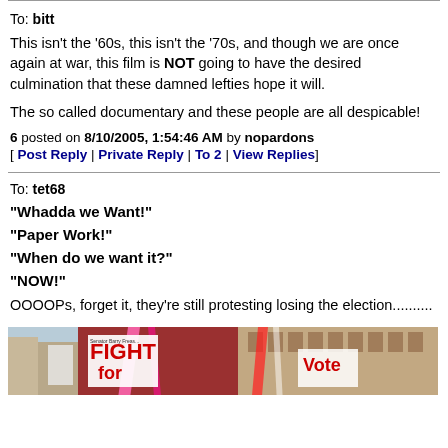To: bitt
This isn't the '60s, this isn't the '70s, and though we are once again at war, this film is NOT going to have the desired culmination that these damned lefties hope it will.
The so called documentary and these people are all despicable!
6 posted on 8/10/2005, 1:54:46 AM by nopardons
[ Post Reply | Private Reply | To 2 | View Replies]
To: tet68
"Whadda we Want!"
"Paper Work!"
"When do we want it?"
"NOW!"
OOOOPs, forget it, they're still protesting losing the election..........
[Figure (photo): Street protest photo showing brick buildings and protest signs including a FIGHT sign and red and white banners/streamers]